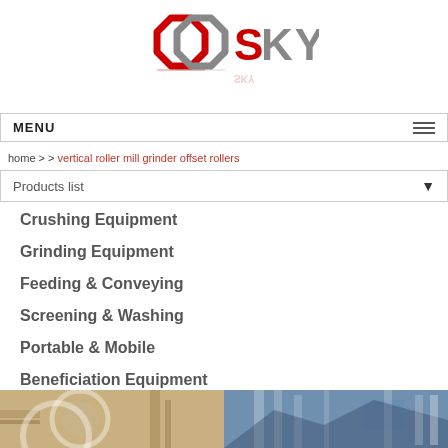[Figure (logo): GOsky company logo with two interlocking octagon rings (red and grey) and text SKY in red and grey]
MENU
home > > vertical roller mill grinder offset rollers
Products list
Crushing Equipment
Grinding Equipment
Feeding & Conveying
Screening & Washing
Portable & Mobile
Beneficiation Equipment
[Figure (photo): Industrial equipment photo strip showing machinery on left and industrial structures on right]